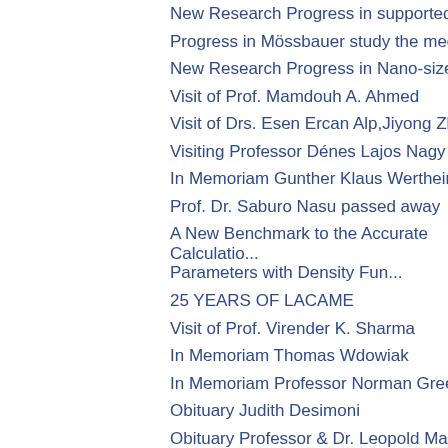New Research Progress in supported Au Ca...
Progress in Mössbauer study the mechanism...
New Research Progress in Nano-sized Gold ...
Visit of Prof. Mamdouh A. Ahmed
Visit of Drs. Esen Ercan Alp,Jiyong Zhao and ...
Visiting Professor Dénes Lajos Nagy from Hu...
In Memoriam Gunther Klaus Wertheim
Prof. Dr. Saburo Nasu passed away
A New Benchmark to the Accurate Calculatio... Parameters with Density Fun...
25 YEARS OF LACAME
Visit of Prof. Virender K. Sharma
In Memoriam Thomas Wdowiak
In Memoriam Professor Norman Greenwood
Obituary Judith Desimoni
Obituary Professor & Dr. Leopold May
SEC Meetings Dalian
8th ISIAME Held at DICP
In Memoriam Professor Fernando Gonz&#22...